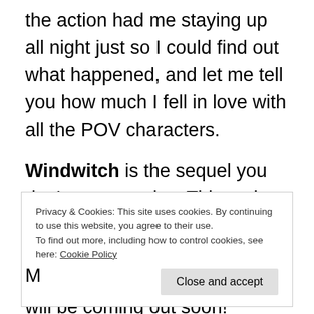the action had me staying up all night just so I could find out what happened, and let me tell you how much I fell in love with all the POV characters.
Windwitch is the sequel you don't want to miss. This entire series is something you 100% need on your shelves. Plus, the third book, Bloodwitch, will be coming out soon!
M
Privacy & Cookies: This site uses cookies. By continuing to use this website, you agree to their use.
To find out more, including how to control cookies, see here: Cookie Policy
Close and accept